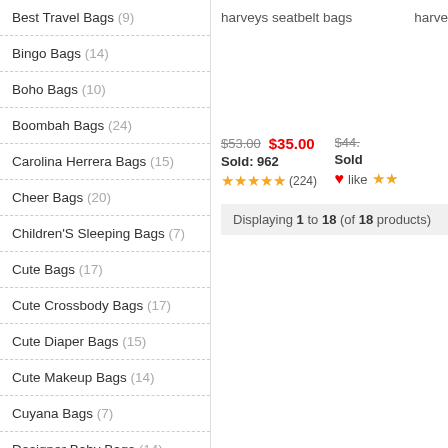Best Travel Bags (9)
Bingo Bags (14)
Boho Bags (10)
Boombah Bags (24)
Carolina Herrera Bags (15)
Cheer Bags (20)
Children'S Sleeping Bags (7)
Cute Bags (17)
Cute Crossbody Bags (17)
Cute Diaper Bags (15)
Cute Makeup Bags (14)
Cuyana Bags (7)
Designer Baby Bags (14)
Evening Bags (22)
Fancy Bags Ru (3)
harveys seatbelt bags
harve
$53.00  $35.00   $44.
Sold: 962   Sold
★★★★★(224)   ❤like ★★
Displaying 1 to 18 (of 18 products)